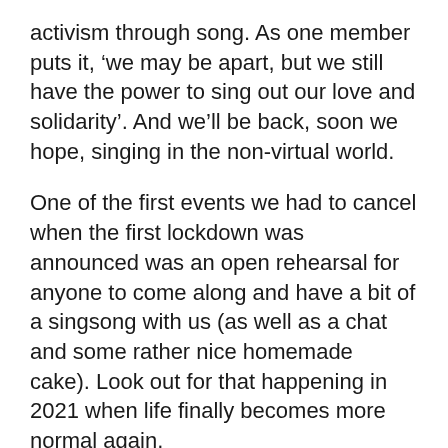activism through song. As one member puts it, ‘we may be apart, but we still have the power to sing out our love and solidarity’. And we’ll be back, soon we hope, singing in the non-virtual world.
One of the first events we had to cancel when the first lockdown was announced was an open rehearsal for anyone to come along and have a bit of a singsong with us (as well as a chat and some rather nice homemade cake). Look out for that happening in 2021 when life finally becomes more normal again.
For now our rehearsals are on zoom. If you’d like to join us for a session or two, you’ll find contact details on our website at https://www.liverpoolsocialistsingers.net/ ‘But I can’t sing!’ we hear you say. To which we reply, in time-